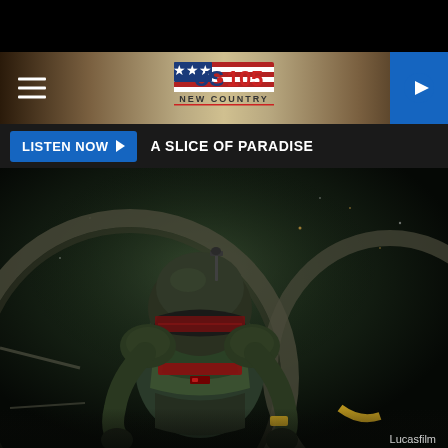[Figure (logo): US-105 New Country radio station logo with American flag design]
LISTEN NOW  A SLICE OF PARADISE
[Figure (photo): Boba Fett character in armored suit from The Book of Boba Fett, Lucasfilm promotional image. Dark atmospheric scene with circular spacecraft element in background.]
Lucasfilm
'THE BOOK OF BOBA FETT'